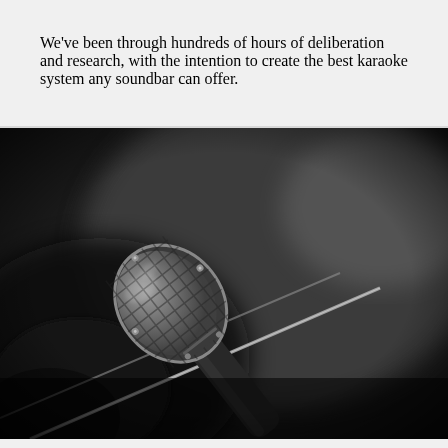We've been through hundreds of hours of deliberation and research, with the intention to create the best karaoke system any soundbar can offer.
[Figure (photo): Black and white close-up photograph of a professional microphone on a stand, with a detailed mesh grille visible on the right side and the microphone body extending to the lower left. Dark bokeh background.]